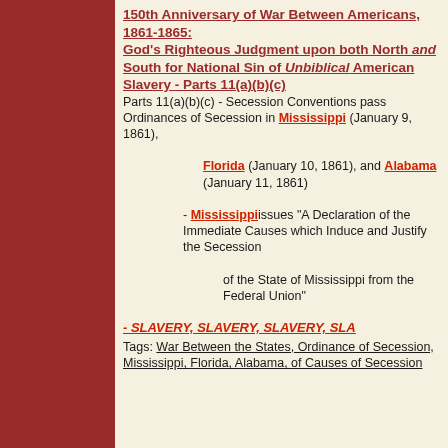150th Anniversary of War Between Americans, 1861-1865: God's Righteous Judgment upon both North and South for National Sin of Unbiblical American Slavery - Parts 11(a)(b)(c)
Parts 11(a)(b)(c) - Secession Conventions pass Ordinances of Secession in Mississippi (January 9, 1861), Florida (January 10, 1861), and Alabama (January 11, 1861) - Mississippi issues "A Declaration of the Immediate Causes which Induce and Justify the Secession of the State of Mississippi from the Federal Union" - SLAVERY, SLAVERY, SLAVERY, SLAVERY
Tags: War Between the States, Ordinance of Secession, Mississippi, Florida, Alabama, of Causes of Secession